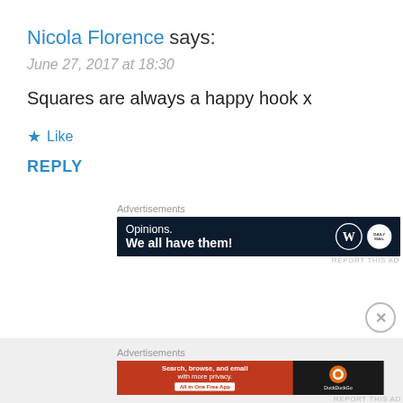Nicola Florence says:
June 27, 2017 at 18:30
Squares are always a happy hook x
★ Like
REPLY
Advertisements
[Figure (screenshot): Advertisement banner: dark navy background with text 'Opinions. We all have them!' and WordPress and site logos on the right.]
REPORT THIS AD
Advertisements
[Figure (screenshot): Advertisement banner: orange and dark background with DuckDuckGo branding. Text reads 'Search, browse, and email with more privacy. All in One Free App']